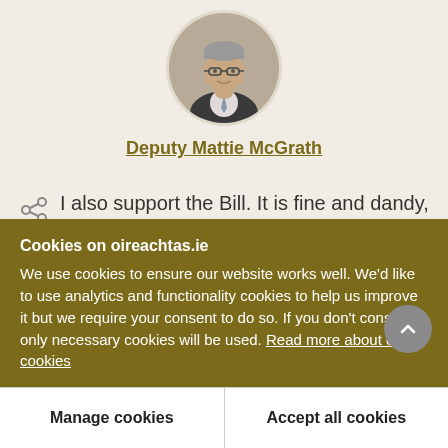[Figure (photo): Circular portrait photo of Deputy Mattie McGrath, an older man with glasses wearing a dark jacket and tie]
Deputy Mattie McGrath
I also support the Bill. It is fine and dandy, and admirable. However, like previous speakers have said, we cannot do it because we do not have the facilities. ComReg should be stood down because it is useless, toothless and fruitless. I met one of them
Cookies on oireachtas.ie
We use cookies to ensure our website works well. We'd like to use analytics and functionality cookies to help us improve it but we require your consent to do so. If you don't consent, only necessary cookies will be used. Read more about our cookies
Manage cookies
Accept all cookies